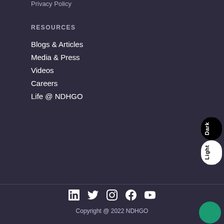Privacy Policy
RESOURCES
Blogs & Articles
Media & Press
Videos
Careers
Life @ NDHGO
[Figure (other): Dark/Light mode toggle widget — pill-shaped button with 'Dark' (black background, white text) on top half and 'Light' (white background, black text) on bottom half, vertical text orientation]
Copyright @ 2022 NDHGO